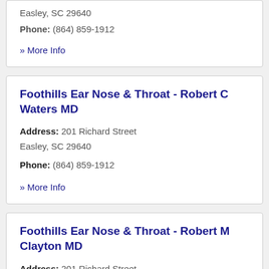Easley, SC 29640
Phone: (864) 859-1912
» More Info
Foothills Ear Nose & Throat - Robert C Waters MD
Address: 201 Richard Street
Easley, SC 29640
Phone: (864) 859-1912
» More Info
Foothills Ear Nose & Throat - Robert M Clayton MD
Address: 201 Richard Street